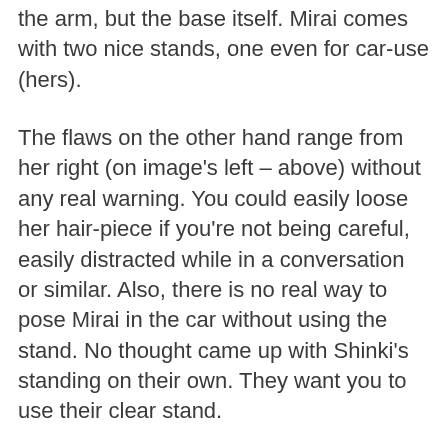the arm, but the base itself. Mirai comes with two nice stands, one even for car-use (hers).
The flaws on the other hand range from her right (on image's left – above) without any real warning. You could easily loose her hair-piece if you're not being careful, easily distracted while in a conversation or similar. Also, there is no real way to pose Mirai in the car without using the stand. No thought came up with Shinki's standing on their own. They want you to use their clear stand.
Want to have fun with water decals? Hope you're the careful and cautious type because these can cause your patience to drain quickly. One rip or tear in the decal and you may find yourself raging. I would recommend playing with the decals when you're ready, not when you first get